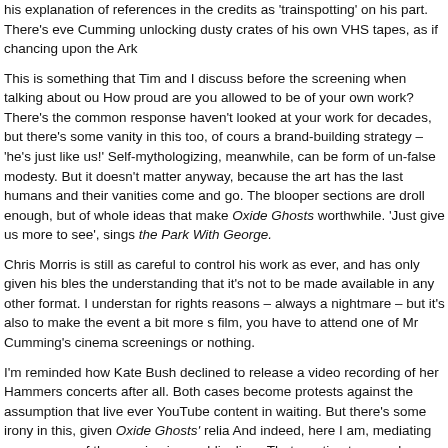his explanation of references in the credits as 'trainspotting' on his part. There's eve Cumming unlocking dusty crates of his own VHS tapes, as if chancing upon the Ark
This is something that Tim and I discuss before the screening when talking about ou How proud are you allowed to be of your own work? There's the common response haven't looked at your work for decades, but there's some vanity in this too, of cours a brand-building strategy – 'he's just like us!' Self-mythologizing, meanwhile, can be form of un-false modesty. But it doesn't matter anyway, because the art has the last humans and their vanities come and go. The blooper sections are droll enough, but of whole ideas that make Oxide Ghosts worthwhile. 'Just give us more to see', sings the Park With George.
Chris Morris is still as careful to control his work as ever, and has only given his bles the understanding that it's not to be made available in any other format. I understan for rights reasons – always a nightmare – but it's also to make the event a bit more s film, you have to attend one of Mr Cumming's cinema screenings or nothing.
I'm reminded how Kate Bush declined to release a video recording of her Hammers concerts after all. Both cases become protests against the assumption that live ever YouTube content in waiting. But there's some irony in this, given Oxide Ghosts' relia And indeed, here I am, mediating my memory of the evening in a public diary. That wanting to record everything, and knowing that there will be always be distortion in e
***